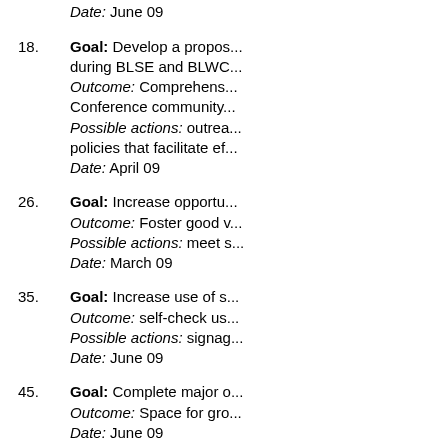skills necessary to acc... Date: June 09
Goal: Develop a propos... during BLSE and BLWC... Outcome: Comprehens... Conference community... Possible actions: outrea... policies that facilitate ef... Date: April 09
Goal: Increase opportu... Outcome: Foster good v... Possible actions: meet s... Date: March 09
Goal: Increase use of s... Outcome: self-check us... Possible actions: signag... Date: June 09
Goal: Complete major o... Outcome: Space for gro... Date: June 09
Goal: Collaborate of sp... Outcome: User spaces...